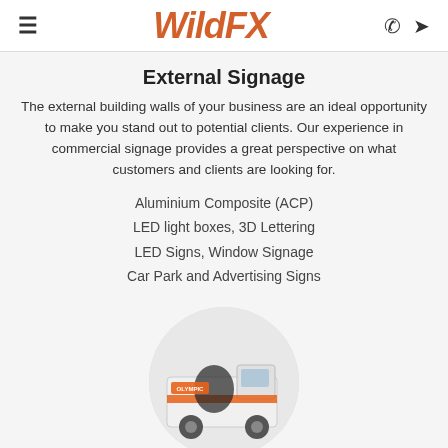WildFX
External Signage
The external building walls of your business are an ideal opportunity to make you stand out to potential clients. Our experience in commercial signage provides a great perspective on what customers and clients are looking for.
Aluminium Composite (ACP)
LED light boxes, 3D Lettering
LED Signs, Window Signage
Car Park and Advertising Signs
[Figure (photo): Circular cropped photo of a white van with orange and black branded vehicle wrap graphics showing 'Olympic' signage]